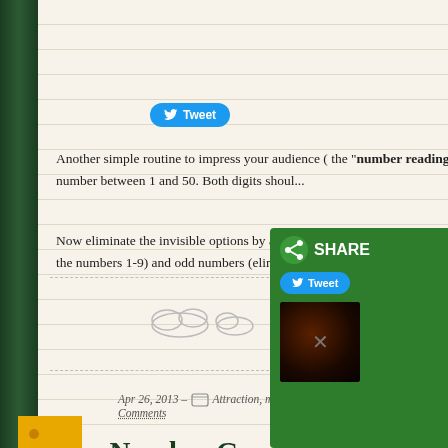[Figure (screenshot): Twitter Tweet button (blue pill-shaped button with bird icon and 'Tweet' text)]
Apr 26, 2013 – Attraction, magic tricks, Number Guessing Roufi... Comments
The Number Guessing Routi...
Another simple routine to impress your audience ( the "number reading routine". Here's how it's do... digit number between 1 and 50. Both digits shoul...
Now eliminate the invisible options by asking whe... the numbers 1-9) and odd numbers (eliminates and...
[Figure (screenshot): Share overlay panel with green background showing SHARE header, Tweet button, and thumbnail image with X close button]